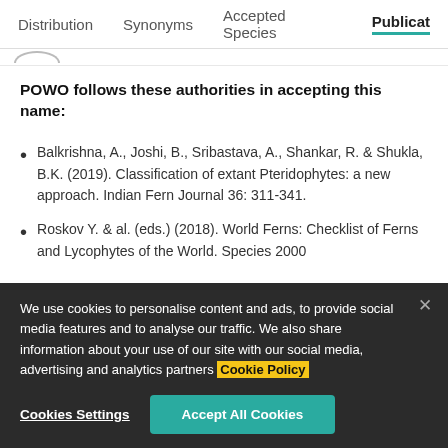Distribution   Synonyms   Accepted Species   Publicat…
POWO follows these authorities in accepting this name:
Balkrishna, A., Joshi, B., Sribastava, A., Shankar, R. & Shukla, B.K. (2019). Classification of extant Pteridophytes: a new approach. Indian Fern Journal 36: 311-341.
Roskov Y. & al. (eds.) (2018). World Ferns: Checklist of Ferns and Lycophytes of the World. Species 2000
We use cookies to personalise content and ads, to provide social media features and to analyse our traffic. We also share information about your use of our site with our social media, advertising and analytics partners Cookie Policy
Cookies Settings   Accept All Cookies